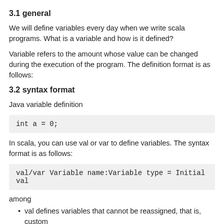3.1 general
We will define variables every day when we write scala programs. What is a variable and how is it defined?
Variable refers to the amount whose value can be changed during the execution of the program. The definition format is as follows:
3.2 syntax format
Java variable definition
int a = 0;
In scala, you can use val or var to define variables. The syntax format is as follows:
val/var Variable name:Variable type = Initial val
among
val defines variables that cannot be reassigned, that is, custom